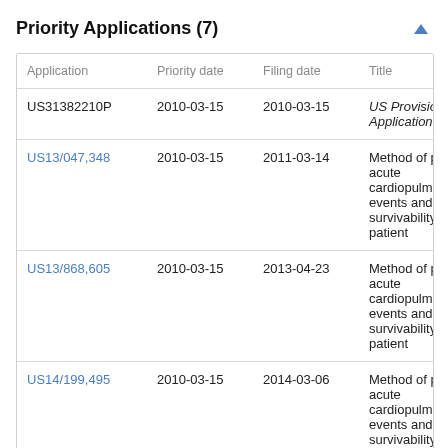Priority Applications (7)
| Application | Priority date | Filing date | Title |
| --- | --- | --- | --- |
| US31382210P | 2010-03-15 | 2010-03-15 | US Provisional Application |
| US13/047,348 | 2010-03-15 | 2011-03-14 | Method of predicting acute cardiopulmonary events and survivability of a patient |
| US13/868,605 | 2010-03-15 | 2013-04-23 | Method of predicting acute cardiopulmonary events and survivability of a patient |
| US14/199,495 | 2010-03-15 | 2014-03-06 | Method of predicting acute cardiopulmonary events and survivability of a |